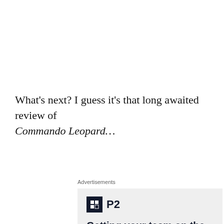What's next? I guess it's that long awaited review of Commando Leopard…
Advertisements
[Figure (logo): P2 advertisement banner with logo (dark square with grid icon and 'P2' text) and headline 'Getting your team on the same page is easy.']
Privacy & Cookies: This site uses cookies. By continuing to use this website, you agree to their use.
To find out more, including how to control cookies, see here: Cookie Policy
Close and accept